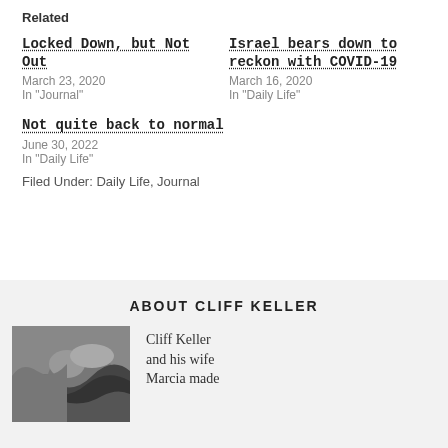Related
Locked Down, but Not Out
March 23, 2020
In "Journal"
Israel bears down to reckon with COVID-19
March 16, 2020
In "Daily Life"
Not quite back to normal
June 30, 2022
In "Daily Life"
Filed Under: Daily Life, Journal
ABOUT CLIFF KELLER
[Figure (photo): Black and white photo of a rocky landscape]
Cliff Keller and his wife Marcia made